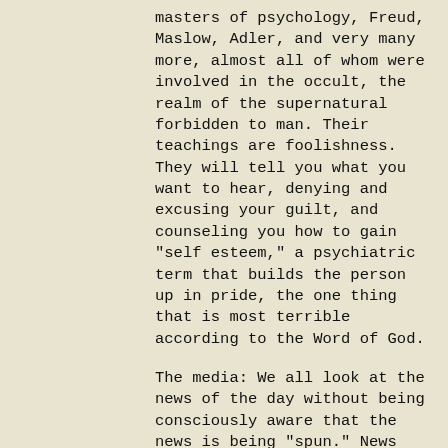masters of psychology, Freud, Maslow, Adler, and very many more, almost all of whom were involved in the occult, the realm of the supernatural forbidden to man. Their teachings are foolishness. They will tell you what you want to hear, denying and excusing your guilt, and counseling you how to gain "self esteem," a psychiatric term that builds the person up in pride, the one thing that is most terrible according to the Word of God.
The media: We all look at the news of the day without being consciously aware that the news is being "spun." News anchors are puppets. It used to be that the newsmen were supposed to bring you the news, but now they shape